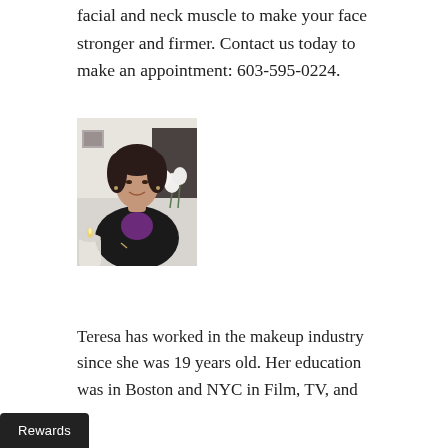facial and neck muscle to make your face stronger and firmer. Contact us today to make an appointment: 603-595-0224.
[Figure (photo): Portrait photo of Teresa, a woman with dark curly hair wearing a black blazer over a purple top, smiling, with white flowers in the background and a candle in the foreground.]
Teresa has worked in the makeup industry since she was 19 years old. Her education was in Boston and NYC in Film, TV, and
Rewards